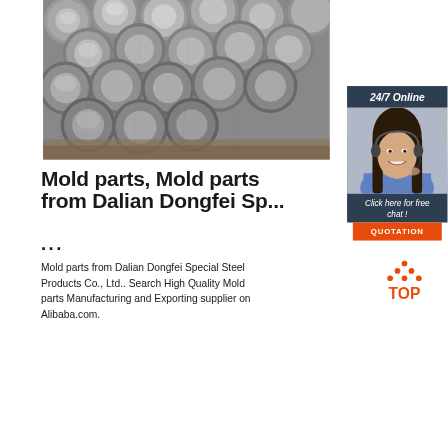[Figure (photo): Bundle of steel round bars/rods stacked together, showing circular cross-sections, gray metallic color]
[Figure (photo): 24/7 Online chat overlay with dark blue-gray header, photo of smiling woman with headset, 'Click here for free chat!' text, and orange QUOTATION button]
Mold parts, Mold parts from Dalian Dongfei Sp...
...
Mold parts from Dalian Dongfei Special Steel Products Co., Ltd.. Search High Quality Mold parts Manufacturing and Exporting supplier on Alibaba.com.
[Figure (logo): TOP logo with orange triangle/arrow shape above the word TOP in orange]